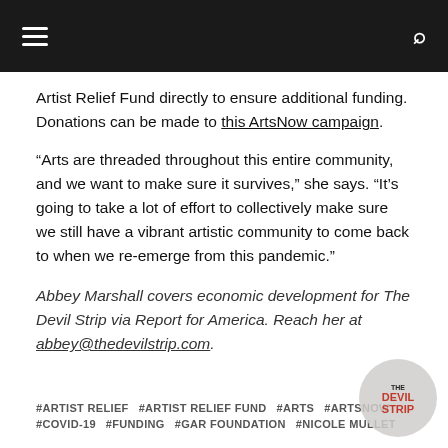Navigation bar with hamburger menu and search icon
Artist Relief Fund directly to ensure additional funding. Donations can be made to this ArtsNow campaign.
“Arts are threaded throughout this entire community, and we want to make sure it survives,” she says. “It’s going to take a lot of effort to collectively make sure we still have a vibrant artistic community to come back to when we re-emerge from this pandemic.”
Abbey Marshall covers economic development for The Devil Strip via Report for America. Reach her at abbey@thedevilstrip.com.
#ARTIST RELIEF
#ARTIST RELIEF FUND
#ARTS
#ARTSNOW
#COVID-19
#FUNDING
#GAR FOUNDATION
#NICOLE MULLET